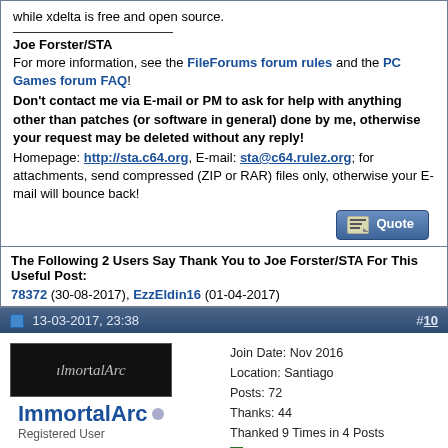while xdelta is free and open source.
Joe Forster/STA
For more information, see the FileForums forum rules and the PC Games forum FAQ!
Don't contact me via E-mail or PM to ask for help with anything other than patches (or software in general) done by me, otherwise your request may be deleted without any reply!
Homepage: http://sta.c64.org, E-mail: sta@c64.rulez.org; for attachments, send compressed (ZIP or RAR) files only, otherwise your E-mail will bounce back!
The Following 2 Users Say Thank You to Joe Forster/STA For This Useful Post:
78372 (30-08-2017), EzzEldin16 (01-04-2017)
13-03-2017, 23:38
#10
ImmortalArc
Registered User
Join Date: Nov 2016
Location: Santiago
Posts: 72
Thanks: 44
Thanked 9 Times in 4 Posts
Quote:
Originally Posted by Joe Forster/STA